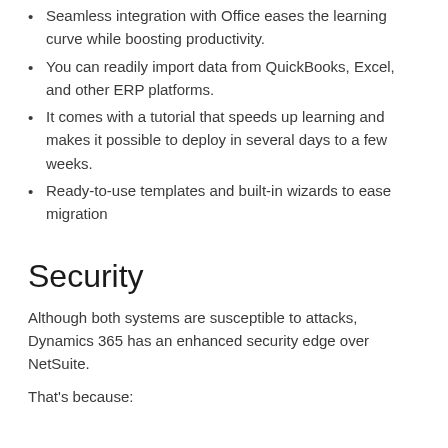Seamless integration with Office eases the learning curve while boosting productivity.
You can readily import data from QuickBooks, Excel, and other ERP platforms.
It comes with a tutorial that speeds up learning and makes it possible to deploy in several days to a few weeks.
Ready-to-use templates and built-in wizards to ease migration
Security
Although both systems are susceptible to attacks, Dynamics 365 has an enhanced security edge over NetSuite.
That's because: